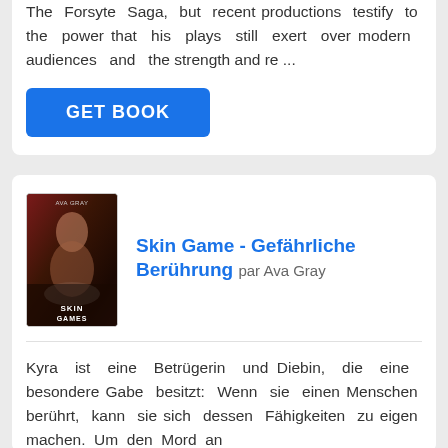The Forsyte Saga, but recent productions testify to the power that his plays still exert over modern audiences and the strength and re ...
GET BOOK
[Figure (illustration): Book cover for Skin Game - Gefährliche Berührung by Ava Gray, showing a dark romantic cover with figures]
Skin Game - Gefährliche Berührung par Ava Gray
Kyra ist eine Betrügerin und Diebin, die eine besondere Gabe besitzt: Wenn sie einen Menschen berührt, kann sie sich dessen Fähigkeiten zu eigen machen. Um den Mord an